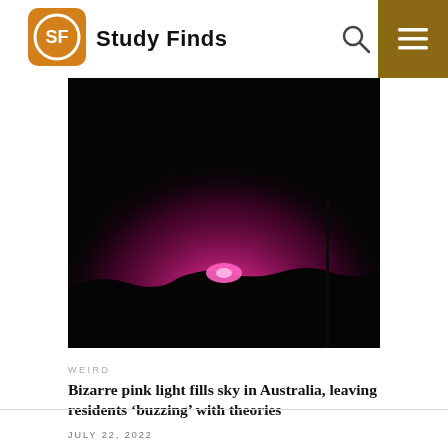Study Finds
[Figure (photo): Night sky with a bright pink/magenta glow on the horizon, silhouetted landscape and pole in foreground]
WEIRD
Bizarre pink light fills sky in Australia, leaving residents ‘buzzing’ with theories
JULY 22, 2022